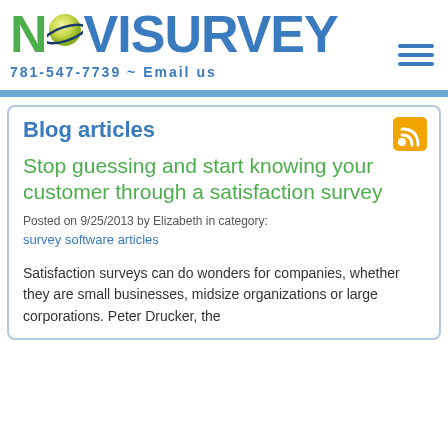[Figure (logo): NoviSurvey logo with green N, yellow-green ball, and blue VISURVEY text]
781-547-7739 ~ Email us
Blog articles
Stop guessing and start knowing your customer through a satisfaction survey
Posted on 9/25/2013 by Elizabeth in category:
survey software articles
Satisfaction surveys can do wonders for companies, whether they are small businesses, midsize organizations or large corporations. Peter Drucker, the